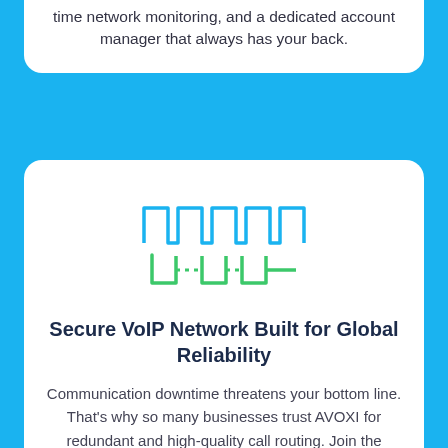time network monitoring, and a dedicated account manager that always has your back.
[Figure (illustration): Icon showing two rows of rectangular pulse waveforms (VoIP/network signal icon): top row in cyan/blue, bottom row in green with dotted lines in the middle, representing a secure VoIP network.]
Secure VoIP Network Built for Global Reliability
Communication downtime threatens your bottom line. That's why so many businesses trust AVOXI for redundant and high-quality call routing. Join the secure global network protected by real-time abnormal alerts, VoIP encryption, dedicated routing and more.